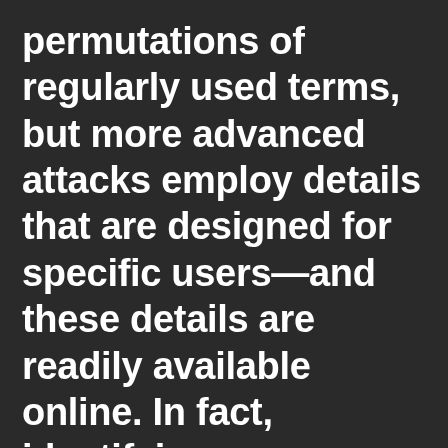permutations of regularly used terms, but more advanced attacks employ details that are designed for specific users—and these details are readily available online. In fact, identifying an employee's pet's name from their Instagram account or their favourite band from their Spotify profile can take seconds. E. Password